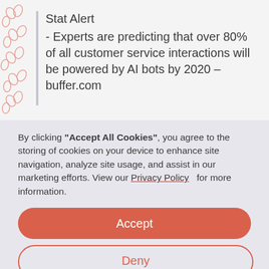Stat Alert
- Experts are predicting that over 80% of all customer service interactions will be powered by AI bots by 2020 – buffer.com
By clicking "Accept All Cookies", you agree to the storing of cookies on your device to enhance site navigation, analyze site usage, and assist in our marketing efforts. View our Privacy Policy   for more information.
Accept
Deny
Preferences